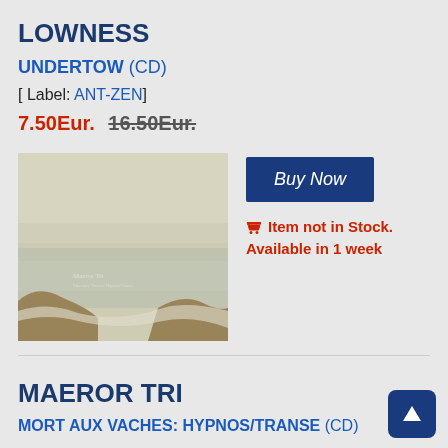LOWNESS
UNDERTOW (CD)
[ Label: ANT-ZEN]
7.50Eur. 16.50Eur.
[Figure (photo): Album cover art showing a seascape with rocks and misty ocean, faded vintage tones. Text reads 'Maeror Tri' with small subtitle.]
Buy Now
Item not in Stock. Available in 1 week
MAEROR TRI
MORT AUX VACHES: HYPNOS/TRANSE (CD)